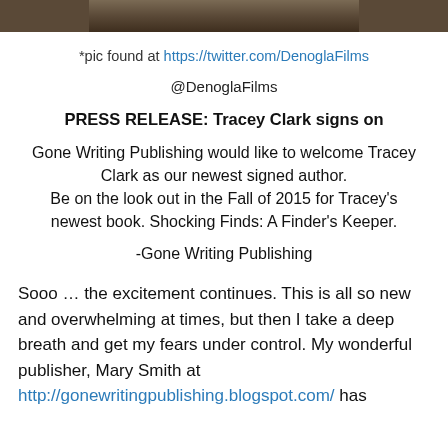[Figure (photo): Partial photo strip at top of page showing a dark textured outdoor scene]
*pic found at https://twitter.com/DenoglaFilms
@DenoglaFilms
PRESS RELEASE: Tracey Clark signs on
Gone Writing Publishing would like to welcome Tracey Clark as our newest signed author.
Be on the look out in the Fall of 2015 for Tracey's newest book. Shocking Finds: A Finder's Keeper.
-Gone Writing Publishing
Sooo … the excitement continues. This is all so new and overwhelming at times, but then I take a deep breath and get my fears under control. My wonderful publisher, Mary Smith at http://gonewritingpublishing.blogspot.com/ has